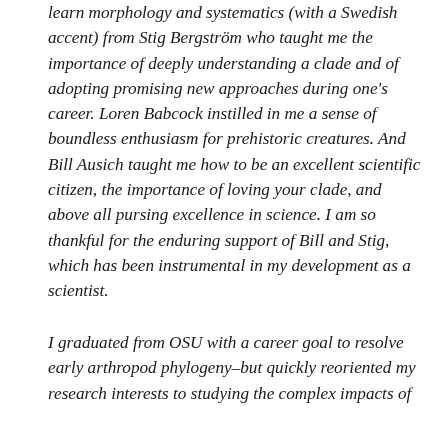learn morphology and systematics (with a Swedish accent) from Stig Bergström who taught me the importance of deeply understanding a clade and of adopting promising new approaches during one's career. Loren Babcock instilled in me a sense of boundless enthusiasm for prehistoric creatures. And Bill Ausich taught me how to be an excellent scientific citizen, the importance of loving your clade, and above all pursing excellence in science. I am so thankful for the enduring support of Bill and Stig, which has been instrumental in my development as a scientist.
I graduated from OSU with a career goal to resolve early arthropod phylogeny–but quickly reoriented my research interests to studying the complex impacts of